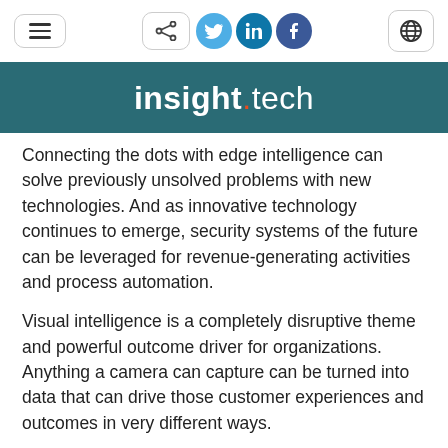insight.tech
Connecting the dots with edge intelligence can solve previously unsolved problems with new technologies. And as innovative technology continues to emerge, security systems of the future can be leveraged for revenue-generating activities and process automation.
Visual intelligence is a completely disruptive theme and powerful outcome driver for organizations. Anything a camera can capture can be turned into data that can drive those customer experiences and outcomes in very different ways.